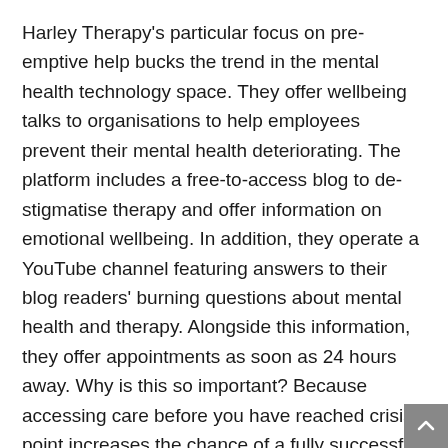Harley Therapy's particular focus on pre-emptive help bucks the trend in the mental health technology space. They offer wellbeing talks to organisations to help employees prevent their mental health deteriorating. The platform includes a free-to-access blog to de-stigmatise therapy and offer information on emotional wellbeing. In addition, they operate a YouTube channel featuring answers to their blog readers' burning questions about mental health and therapy. Alongside this information, they offer appointments as soon as 24 hours away. Why is this so important? Because accessing care before you have reached crisis point increases the chance of a fully successful recovery.
The NHS suggests that individuals consider seeking a private therapist for mental health issues due to long waiting lists. But accessing and scheduling appointments with the right professional is often so difficult that people in need of care